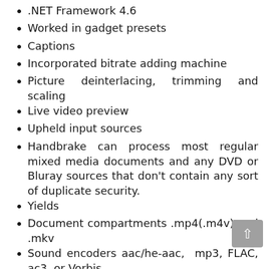.NET Framework 4.6
Worked in gadget presets
Captions
Incorporated bitrate adding machine
Picture deinterlacing, trimming and scaling
Live video preview
Upheld input sources
Handbrake can process most regular mixed media documents and any DVD or Bluray sources that don't contain any sort of duplicate security.
Yields
Document compartments .mp4(.m4v) and .mkv
Sound encoders aac/he-aac, mp3, FLAC, ac3, or Vorbis
Sound pass-through air conditioning 3,